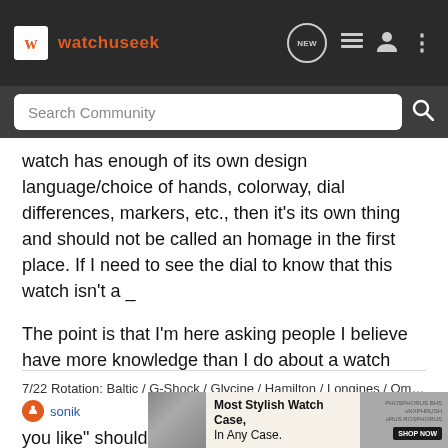watchuseek — NEW
Search Community
watch has enough of its own design language/choice of hands, colorway, dial differences, markers, etc., then it's its own thing and should not be called an homage in the first place. If I need to see the dial to know that this watch isn't a _
The point is that I'm here asking people I believe have more knowledge than I do about a watch style I'm not familiar with. They can help me avoid an homage or a poor quality timepiece. "Buy what you like" should be tempered with "Learn before you buy".
7/22 Rotation: Baltic / G-Shock / Glycine / Hamilton / Longines / Omega / Undone /
sonik
[Figure (screenshot): Advertisement banner: Most Stylish Watch Case, In Any Case. Shop Now button with watch case image on left and phosphorus branding on right.]